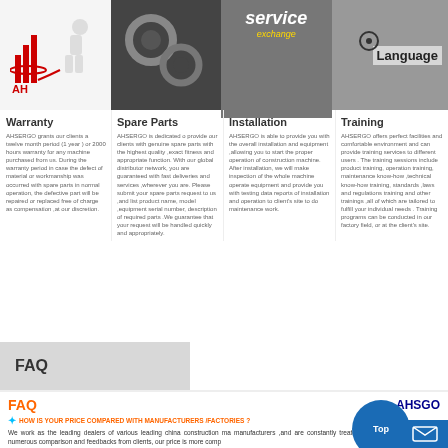[Figure (screenshot): Top banner with logo, gears, service exchange, and training images with Language button]
Warranty
AHSERGO grants our clients a twelve month period (1 year ) or 2000 hours warranty for any machine purchased from us. During the warranty period in case the defect of material or workmanship was occurred with spare parts in normal operation, the defective part will be repaired or replaced free of charge as compensation ,at our discretion.
Spare Parts
AHSERGO is dedicated o provide our clients with genuine spare parts with the highest quality ,exact fitness and appropriate function. With our global distributor network, you are guaranteed with fast deliveries and services ,wherever you are. Please submit your spare parts request to us ,and list product name, model ,equipment serial number, description of required parts .We guarantee that your request will be handled quickly and appropriately.
Installation
AHSERGO is able to provide you with the overall installation and equipment ,allowing you to start the proper operation of construction machine. After installation, we will make inspection of the whole machine operate equipment and provide you with testing data reports of installation and operation to client's site to do maintenance work.
Training
AHSERGO offers perfect facilities and comfortable environment and can provide training services to different users . The training sessions include product training, operation training, maintenance know-how ,technical know-how training, standards ,laws and regulations training and other trainings ,all of which are tailored to fulfill your individual needs . Training programs can be conducted in our factory field, or at the client's site.
FAQ
FAQ
AHSERGO
HOW IS YOUR PRICE COMPARED WITH MANUFACTURERS /FACTORIES ?
We work as the leading dealers of various leading china construction machine manufacturers ,and are constantly treated with best dealership price numerous comparison and feedbacks from clients, our price is more comp